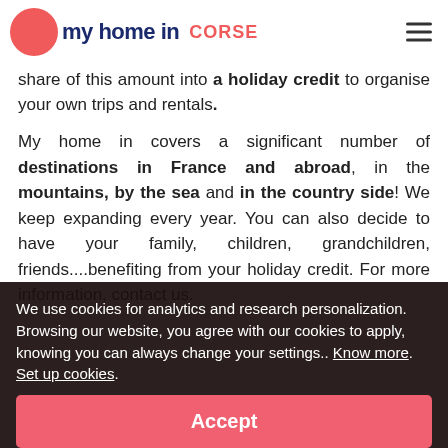my home in CORSE
share of this amount into a holiday credit to organise your own trips and rentals.
My home in covers a significant number of destinations in France and abroad, in the mountains, by the sea and in the country side! We keep expanding every year. You can also decide to have your family, children, grandchildren, friends....benefiting from your holiday credit. For more information, contact us.
We use cookies for analytics and research personalization. Browsing our website, you agree with our cookies to apply, knowing you can always change your settings.. Know more. Set up cookies.
Accept